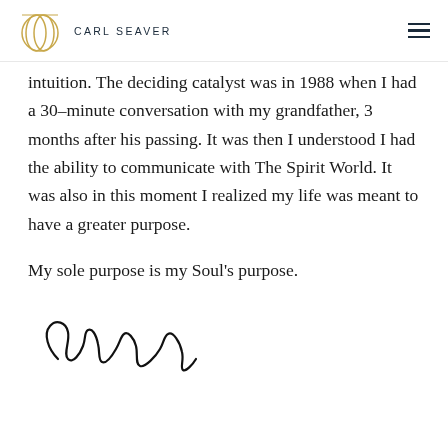CARL SEAVER
intuition. The deciding catalyst was in 1988 when I had a 30–minute conversation with my grandfather, 3 months after his passing. It was then I understood I had the ability to communicate with The Spirit World. It was also in this moment I realized my life was meant to have a greater purpose.
My sole purpose is my Soul's purpose.
[Figure (illustration): Handwritten signature of Carl Seaver in black ink cursive script]